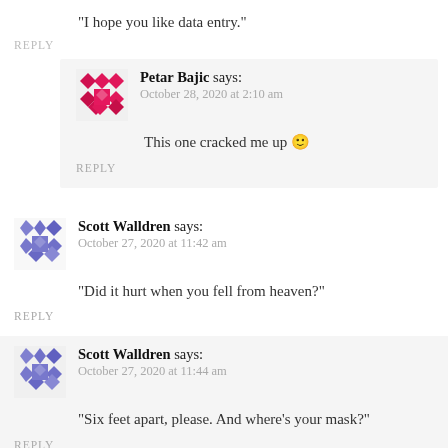“I hope you like data entry.”
REPLY
Petar Bajic says:
October 28, 2020 at 2:10 am
This one cracked me up 🙂
REPLY
Scott Walldren says:
October 27, 2020 at 11:42 am
“Did it hurt when you fell from heaven?”
REPLY
Scott Walldren says:
October 27, 2020 at 11:44 am
“Six feet apart, please. And where’s your mask?”
REPLY